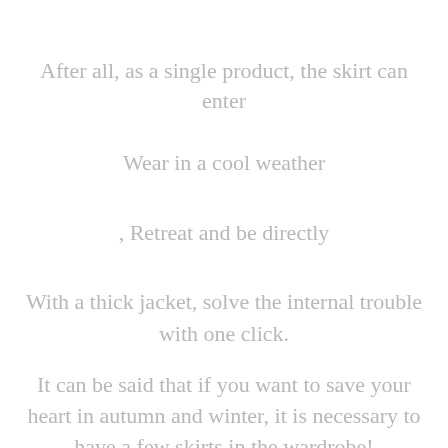After all, as a single product, the skirt can enter
Wear in a cool weather
, Retreat and be directly
With a thick jacket, solve the internal trouble with one click.
It can be said that if you want to save your heart in autumn and winter, it is necessary to have a few skirts in the wardrobe!